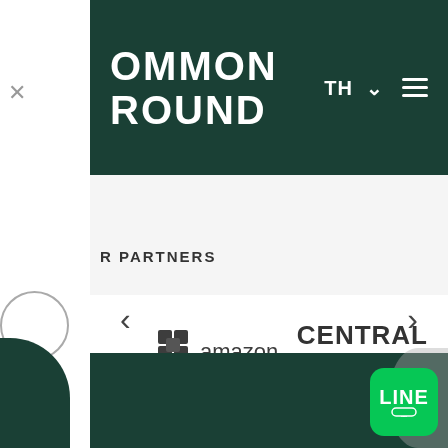COMMON GROUND — TH navigation menu
OUR PARTNERS
[Figure (logo): Amazon Web Services logo — stylized AWS cube icon with 'amazon web services' text]
[Figure (logo): Central Pattana text logo in bold dark font]